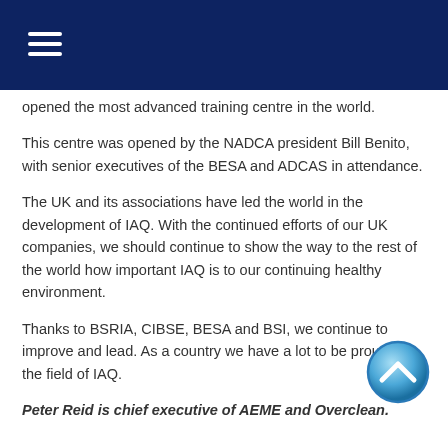Navigation header bar with hamburger menu
opened the most advanced training centre in the world.
This centre was opened by the NADCA president Bill Benito, with senior executives of the BESA and ADCAS in attendance.
The UK and its associations have led the world in the development of IAQ. With the continued efforts of our UK companies, we should continue to show the way to the rest of the world how important IAQ is to our continuing healthy environment.
Thanks to BSRIA, CIBSE, BESA and BSI, we continue to improve and lead. As a country we have a lot to be proud of in the field of IAQ.
Peter Reid is chief executive of AEME and Overclean.